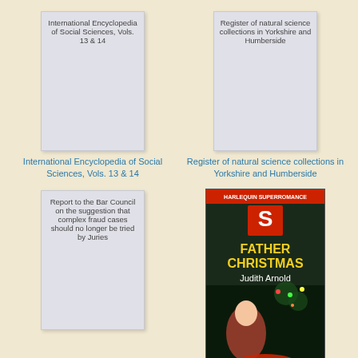[Figure (illustration): Book cover placeholder card for International Encyclopedia of Social Sciences, Vols. 13 & 14 - grey card with title text]
International Encyclopedia of Social Sciences, Vols. 13 & 14
[Figure (illustration): Book cover placeholder card for Register of natural science collections in Yorkshire and Humberside - grey card with title text]
Register of natural science collections in Yorkshire and Humberside
[Figure (illustration): Book cover placeholder card for Report to the Bar Council on the suggestion that complex fraud cases should no longer be tried by Juries - grey card with title text]
[Figure (photo): Book cover photo for Father Christmas by Judith Arnold - Harlequin Superromance, showing a child with Christmas decorations in the background]